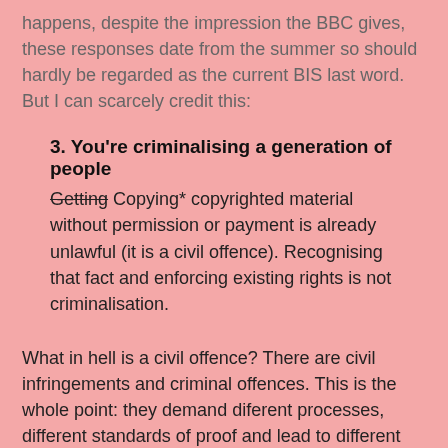happens, despite the impression the BBC gives, these responses date from the summer so should hardly be regarded as the current BIS last word. But I can scarcely credit this:
3. You're criminalising a generation of people
Getting Copying* copyrighted material without permission or payment is already unlawful (it is a civil offence). Recognising that fact and enforcing existing rights is not criminalisation.
What in hell is a civil offence? There are civil infringements and criminal offences. This is the whole point: they demand diferent processes, different standards of proof and lead to different acceptable sanctions. It is in the interests of the music industry to attempt to blur the line between civil and criminal in relation to copyright - domestic copying is purely a civil infringement whereas commercial distribution may also be criminal - but the distinction is one that one would hope civil servants at least would understand, particularly when it would have helped them resist the original accusation! As the Bosh might say: Dear oh dear oh dear!